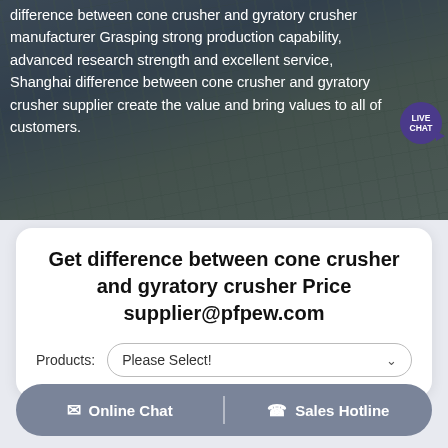[Figure (photo): Aerial photo of a quarry/mining site used as hero background image with overlaid white text about cone crusher and gyratory crusher manufacturer]
difference between cone crusher and gyratory crusher manufacturer Grasping strong production capability, advanced research strength and excellent service, Shanghai difference between cone crusher and gyratory crusher supplier create the value and bring values to all of customers.
Get difference between cone crusher and gyratory crusher Price supplier@pfpew.com
Products: Please Select!
Online Chat | Sales Hotline